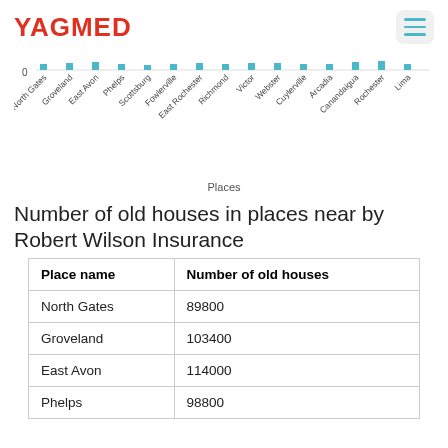YAGMED
[Figure (bar-chart): Number of old houses in places near by Robert Wilson Insurance]
Number of old houses in places near by Robert Wilson Insurance
| Place name | Number of old houses |
| --- | --- |
| North Gates | 89800 |
| Groveland | 103400 |
| East Avon | 114000 |
| Phelps | 98800 |